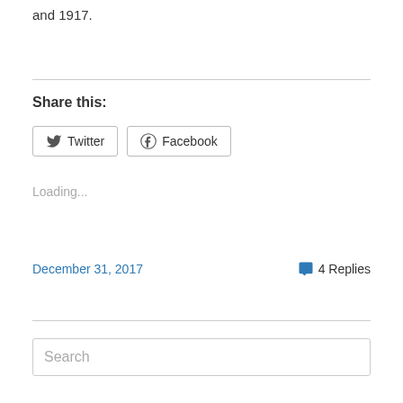and 1917.
Share this:
[Figure (other): Twitter and Facebook share buttons]
Loading...
December 31, 2017
4 Replies
Search